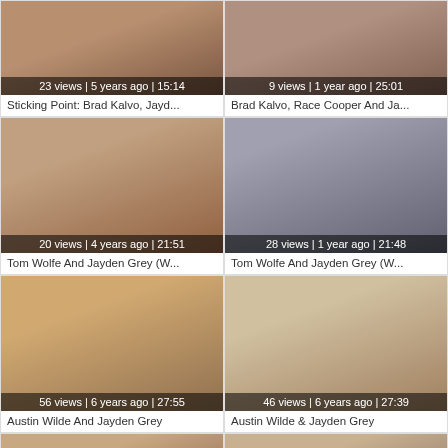[Figure (screenshot): Video thumbnail - close up skin tones]
23 views | 5 years ago | 15:14
Sticking Point: Brad Kalvo, Jayd...
[Figure (screenshot): Video thumbnail - skin tones]
9 views | 1 year ago | 25:01
Brad Kalvo, Race Cooper And Ja...
[Figure (screenshot): Video thumbnail - close up]
20 views | 4 years ago | 21:51
Tom Wolfe And Jayden Grey (W...
[Figure (screenshot): Video thumbnail - gym scene]
28 views | 1 year ago | 21:48
Tom Wolfe And Jayden Grey (W...
[Figure (screenshot): Video thumbnail - outdoor scene]
56 views | 6 years ago | 27:55
Austin Wilde And Jayden Grey
[Figure (screenshot): Video thumbnail - indoor scene]
46 views | 6 years ago | 27:39
Austin Wilde & Jayden Grey
[Figure (screenshot): Video thumbnail - partial view bottom]
[Figure (screenshot): Video thumbnail - partial view bottom]